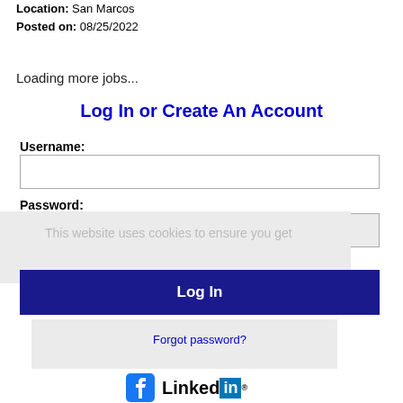Location: San Marcos
Posted on: 08/25/2022
Loading more jobs...
Log In or Create An Account
Username:
Password:
This website uses cookies to ensure you get
Log In
Forgot password?
[Figure (logo): Facebook and LinkedIn social login icons]